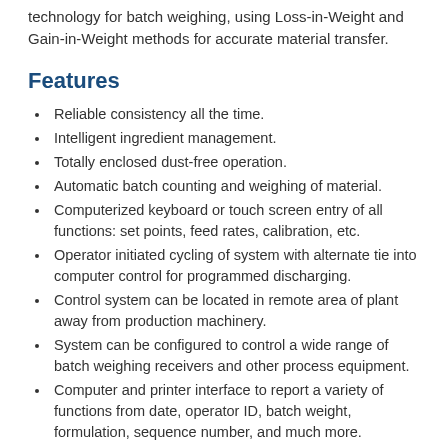technology for batch weighing, using Loss-in-Weight and Gain-in-Weight methods for accurate material transfer.
Features
Reliable consistency all the time.
Intelligent ingredient management.
Totally enclosed dust-free operation.
Automatic batch counting and weighing of material.
Computerized keyboard or touch screen entry of all functions: set points, feed rates, calibration, etc.
Operator initiated cycling of system with alternate tie into computer control for programmed discharging.
Control system can be located in remote area of plant away from production machinery.
System can be configured to control a wide range of batch weighing receivers and other process equipment.
Computer and printer interface to report a variety of functions from date, operator ID, batch weight, formulation, sequence number, and much more.
Stored Recipes